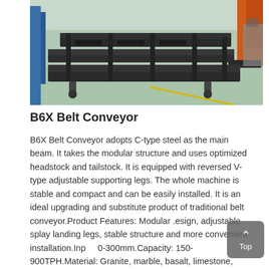[Figure (photo): Industrial factory floor showing a B6X Belt Conveyor frame/structure in dark grey metal, positioned on a green-painted floor with warehouse equipment and orange structures visible in background.]
B6X Belt Conveyor
B6X Belt Conveyor adopts C-type steel as the main beam. It takes the modular structure and uses optimized headstock and tailstock. It is equipped with reversed V-type adjustable supporting legs. The whole machine is stable and compact and can be easily installed. It is an ideal upgrading and substitute product of traditional belt conveyor.Product Features: Modular .esign, adjustable splay landing legs, stable structure and more convenient installation.Input: 0-300mm.Capacity: 150-900TPH.Material: Granite, marble, basalt, limestone, quartz, pebble, copper ore, iron ore and so on.Worki